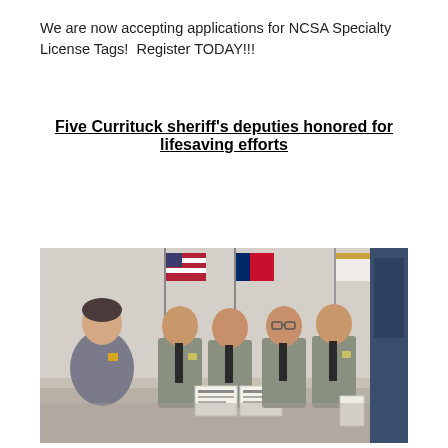We are now accepting applications for NCSA Specialty License Tags!  Register TODAY!!!
Five Currituck sheriff's deputies honored for lifesaving efforts
[Figure (photo): Group photo of five people standing in front of American and state flags. One woman in a gray blazer with a yellow badge/pin on the left, and four male deputies in gray sheriff uniforms holding certificates.]